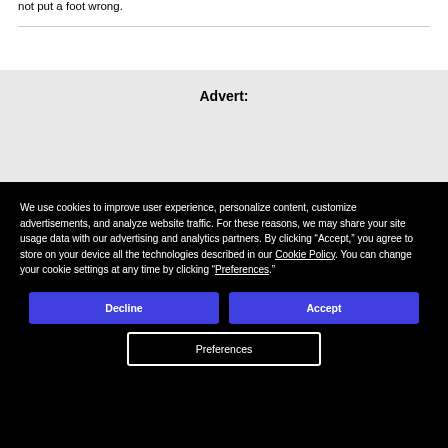not put a foot wrong.
Advert:
We use cookies to improve user experience, personalize content, customize advertisements, and analyze website traffic. For these reasons, we may share your site usage data with our advertising and analytics partners. By clicking “Accept,” you agree to store on your device all the technologies described in our Cookie Policy. You can change your cookie settings at any time by clicking “Preferences.”
Decline
Accept
Preferences